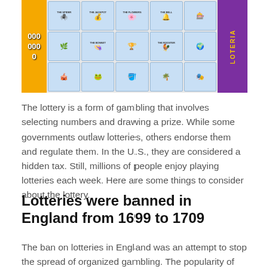[Figure (photo): Close-up photograph of colorful lottery scratch cards with illustrated icons in a grid, orange side panel with numbers, and purple side panel with 'LOTERIA' text.]
The lottery is a form of gambling that involves selecting numbers and drawing a prize. While some governments outlaw lotteries, others endorse them and regulate them. In the U.S., they are considered a hidden tax. Still, millions of people enjoy playing lotteries each week. Here are some things to consider about the lottery.
Lotteries were banned in England from 1699 to 1709
The ban on lotteries in England was an attempt to stop the spread of organized gambling. The popularity of these games led to outrageous markups, as contractors would buy tickets